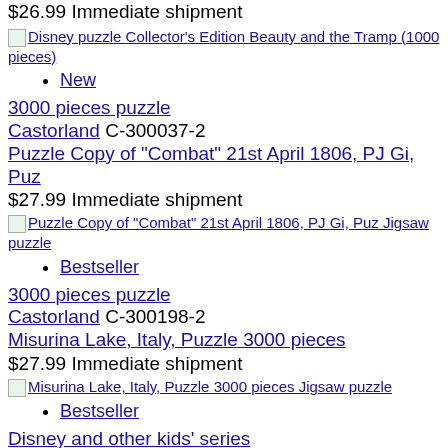$26.99 Immediate shipment
[Figure (photo): Disney puzzle Collector's Edition Beauty and the Tramp (1000 pieces) thumbnail image]
New
3000 pieces puzzle
Castorland C-300037-2
Puzzle Copy of "Combat" 21st April 1806, PJ Gi, Puz
$27.99 Immediate shipment
[Figure (photo): Puzzle Copy of "Combat" 21st April 1806, PJ Gi, Puz Jigsaw puzzle thumbnail image]
Bestseller
3000 pieces puzzle
Castorland C-300198-2
Misurina Lake, Italy, Puzzle 3000 pieces
$27.99 Immediate shipment
[Figure (photo): Misurina Lake, Italy, Puzzle 3000 pieces Jigsaw puzzle thumbnail image]
Bestseller
Disney and other kids' series
Ravensburger RAVE16099
Disney Shaped Mickey Puzzle (945 pieces)